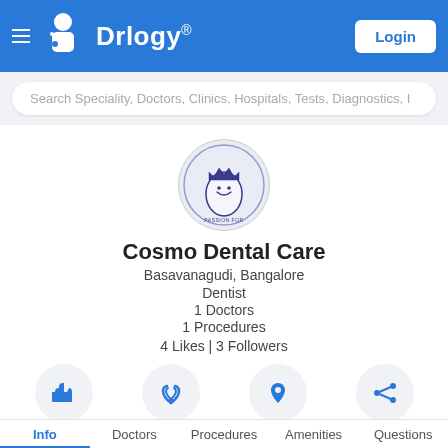Drlogy® Login
Search Speciality, Doctors, Clinics, Hospitals, Tests, Diagnostics, I
[Figure (logo): Cosmo Dental Care circular logo with tooth mascot wearing a crown, text 'PASSION FOR EXCELLENCE']
Cosmo Dental Care
Basavanagudi, Bangalore
Dentist
1 Doctors
1 Procedures
4 Likes | 3 Followers
[Figure (infographic): Four action buttons in circles: Like (thumbs up icon), Follow (wifi/signal icon), Map (location pin icon), Share (share icon)]
Like
Follow
Map
Share
Info  Doctors  Procedures  Amenities  Questions